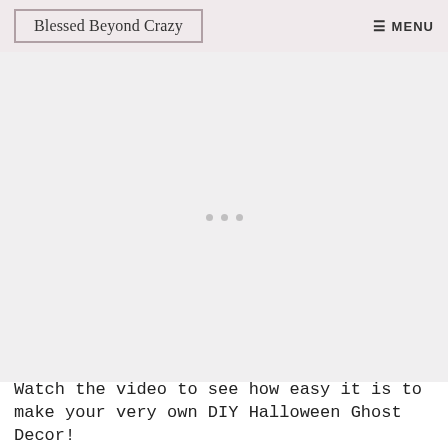Blessed Beyond Crazy  MENU
[Figure (other): Advertisement placeholder area with three grey dots centered in a light grey box]
Watch the video to see how easy it is to make your very own DIY Halloween Ghost Decor!